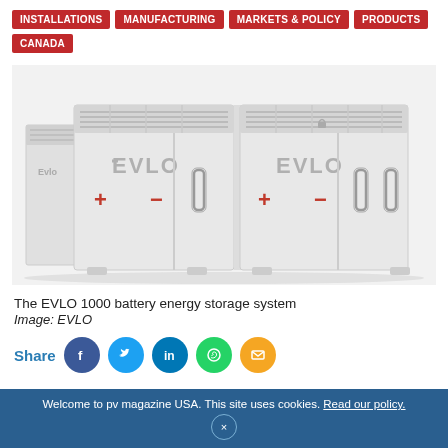INSTALLATIONS | MANUFACTURING | MARKETS & POLICY | PRODUCTS | CANADA
[Figure (photo): The EVLO 1000 battery energy storage system — a large white industrial container unit with EVLO branding, plus/minus terminal markings in orange/red, ventilation grilles on top, and access handles on door panels.]
The EVLO 1000 battery energy storage system
Image: EVLO
Share
Welcome to pv magazine USA. This site uses cookies. Read our policy.